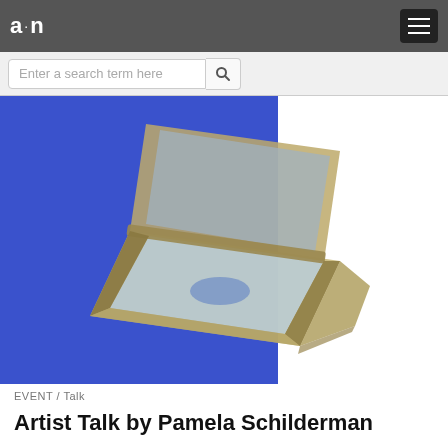a·n
Enter a search term here
[Figure (photo): An open compact mirror or book-like metal object with a hinge, photographed on a bright blue background. The object has a silver/metallic frame with a light blue or frosted interior panel. An oval stamp or seal in blue is visible on the lower interior panel.]
EVENT / Talk
Artist Talk by Pamela Schilderman